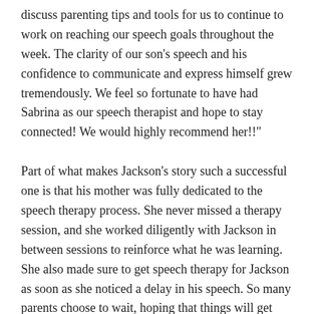discuss parenting tips and tools for us to continue to work on reaching our speech goals throughout the week. The clarity of our son's speech and his confidence to communicate and express himself grew tremendously. We feel so fortunate to have had Sabrina as our speech therapist and hope to stay connected! We would highly recommend her!!"
Part of what makes Jackson's story such a successful one is that his mother was fully dedicated to the speech therapy process. She never missed a therapy session, and she worked diligently with Jackson in between sessions to reinforce what he was learning. She also made sure to get speech therapy for Jackson as soon as she noticed a delay in his speech. So many parents choose to wait, hoping that things will get better on their own, and some are even encouraged by their pediatricians to wait to begin speech therapy. At Lil' Chit-Chat, we are huge proponents of early